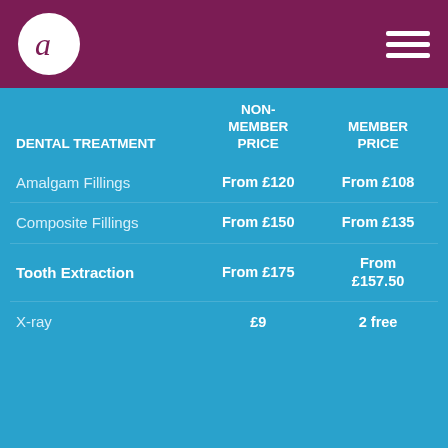[Figure (logo): Circular white logo with stylized letter Q in dark maroon on a maroon header bar]
| DENTAL TREATMENT | NON-MEMBER PRICE | MEMBER PRICE |
| --- | --- | --- |
| Amalgam Fillings | From £120 | From £108 |
| Composite Fillings | From £150 | From £135 |
| Tooth Extraction | From £175 | From £157.50 |
| X-ray | £9 | 2 free |